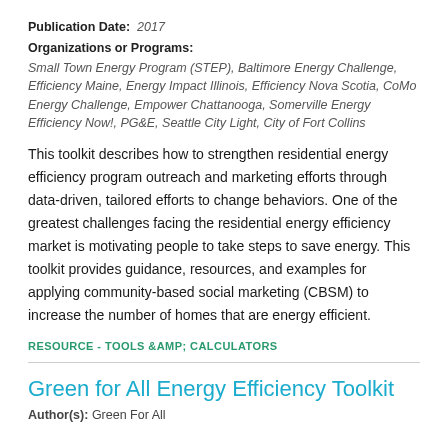Publication Date: 2017
Organizations or Programs: Small Town Energy Program (STEP), Baltimore Energy Challenge, Efficiency Maine, Energy Impact Illinois, Efficiency Nova Scotia, CoMo Energy Challenge, Empower Chattanooga, Somerville Energy Efficiency Now!, PG&E, Seattle City Light, City of Fort Collins
This toolkit describes how to strengthen residential energy efficiency program outreach and marketing efforts through data-driven, tailored efforts to change behaviors. One of the greatest challenges facing the residential energy efficiency market is motivating people to take steps to save energy. This toolkit provides guidance, resources, and examples for applying community-based social marketing (CBSM) to increase the number of homes that are energy efficient.
RESOURCE - TOOLS &AMP; CALCULATORS
Green for All Energy Efficiency Toolkit
Author(s): Green For All